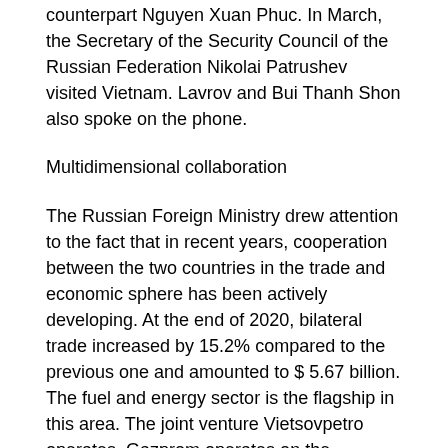counterpart Nguyen Xuan Phuc. In March, the Secretary of the Security Council of the Russian Federation Nikolai Patrushev visited Vietnam. Lavrov and Bui Thanh Shon also spoke on the phone.
Multidimensional collaboration
The Russian Foreign Ministry drew attention to the fact that in recent years, cooperation between the two countries in the trade and economic sphere has been actively developing. At the end of 2020, bilateral trade increased by 15.2% compared to the previous one and amounted to $ 5.67 billion. The fuel and energy sector is the flagship in this area. The joint venture Vietsovpetro operates, Gazprom operates on the continental shelf of Vietnam, Novatek and Zarubezhneft are negotiating to join the project to build a terminal for receiving liquefied natural gas and a gas power plant in the